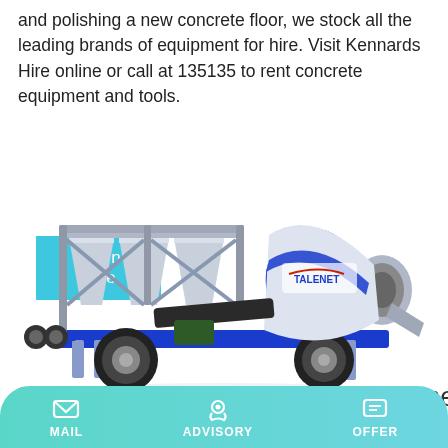and polishing a new concrete floor, we stock all the leading brands of equipment for hire. Visit Kennards Hire online or call at 135135 to rent concrete equipment and tools.
Learn More
[Figure (photo): A blue and white mobile concrete mixer/batching plant on wheels with TALENET branding, shown on a white background with reflection.]
Concrete Pump Engineering – Home
MAIL | ADVISORY | OFFER